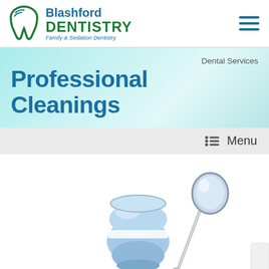Blashford DENTISTRY Family & Sedation Dentistry
Dental Services
Professional Cleanings
Menu
[Figure (photo): Dental tools including a blue prophy cup/rubber cup for tooth polishing and a dental mirror on a white background]